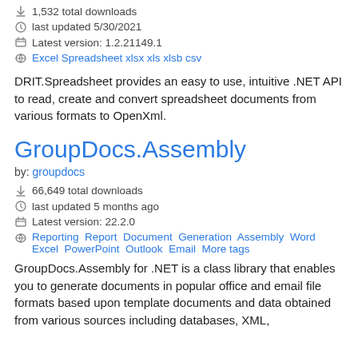1,532 total downloads
last updated 5/30/2021
Latest version: 1.2.21149.1
Excel Spreadsheet xlsx xls xlsb csv
DRIT.Spreadsheet provides an easy to use, intuitive .NET API to read, create and convert spreadsheet documents from various formats to OpenXml.
GroupDocs.Assembly
by: groupdocs
66,649 total downloads
last updated 5 months ago
Latest version: 22.2.0
Reporting Report Document Generation Assembly Word Excel PowerPoint Outlook Email More tags
GroupDocs.Assembly for .NET is a class library that enables you to generate documents in popular office and email file formats based upon template documents and data obtained from various sources including databases, XML,